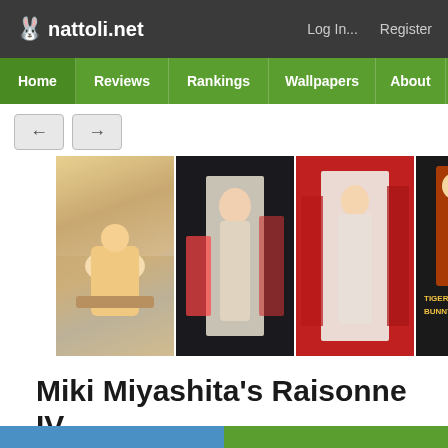nattoli.net  Log In...  Register
Home  Reviews  Rankings  Wallpapers  About  Con...
[Figure (screenshot): Navigation arrow buttons (left and right) followed by a horizontal strip of 5 anime poster thumbnails]
Miki Miyashita's Raisonne IV
Doujinshi   Artists   Miki Miyashita (宮下みき)
Conventions   Comiket 76 (コミケ 76)
November 19th, 2011, 3:24PM by nat | 0 comments